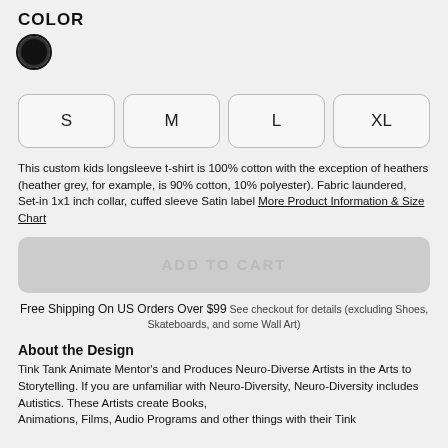COLOR
[Figure (other): Black filled circle color swatch with dark border, indicating selected black color option]
[Figure (other): Four size selector buttons labeled S, M, L, XL with rounded rectangle borders]
This custom kids longsleeve t-shirt is 100% cotton with the exception of heathers (heather grey, for example, is 90% cotton, 10% polyester). Fabric laundered, Set-in 1x1 inch collar, cuffed sleeve Satin label More Product Information & Size Chart
[Figure (other): Greyed out ADD TO CART button with rounded corners]
Free Shipping On US Orders Over $99 See checkout for details (excluding Shoes, Skateboards, and some Wall Art)
About the Design
Tink Tank Animate Mentor's and Produces Neuro-Diverse Artists in the Arts to Storytelling. If you are unfamiliar with Neuro-Diversity, Neuro-Diversity includes Autistics. These Artists create Books, Animations, Films, Audio Programs and other things with their Tink